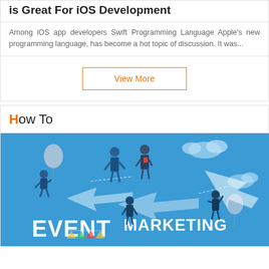is Great For iOS Development
Among iOS app developers Swift Programming Language Apple's new programming language, has become a hot topic of discussion. It was...
View More
How To
[Figure (illustration): Event Marketing illustration showing multiple business people with balloons, arrows, and large bold text reading EVENT MARKETING on a blue background]